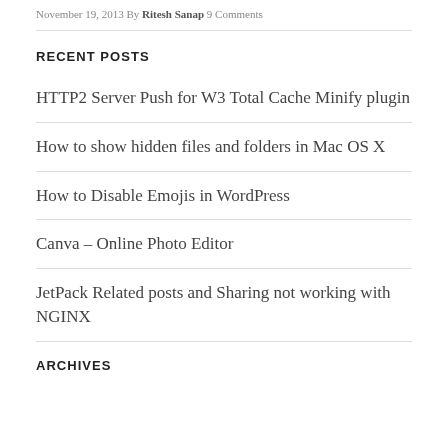November 19, 2013 By Ritesh Sanap 9 Comments
RECENT POSTS
HTTP2 Server Push for W3 Total Cache Minify plugin
How to show hidden files and folders in Mac OS X
How to Disable Emojis in WordPress
Canva – Online Photo Editor
JetPack Related posts and Sharing not working with NGINX
ARCHIVES